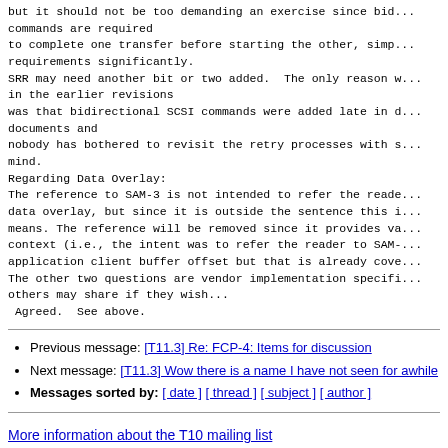but it should not be too demanding an exercise since bid... commands are required
to complete one transfer before starting the other, simp...
requirements significantly.
SRR may need another bit or two added.  The only reason w...
in the earlier revisions
was that bidirectional SCSI commands were added late in d...
documents and
nobody has bothered to revisit the retry processes with s...
mind.
Regarding Data Overlay:
The reference to SAM-3 is not intended to refer the reade...
data overlay, but since it is outside the sentence this i...
means. The reference will be removed since it provides va...
context (i.e., the intent was to refer the reader to SAM-...
application client buffer offset but that is already cove...
The other two questions are vendor implementation specifi...
others may share if they wish...
 Agreed.  See above.
Previous message: [T11.3] Re: FCP-4: Items for discussion
Next message: [T11.3] Wow there is a name I have not seen for awhile
Messages sorted by: [ date ] [ thread ] [ subject ] [ author ]
More information about the T10 mailing list